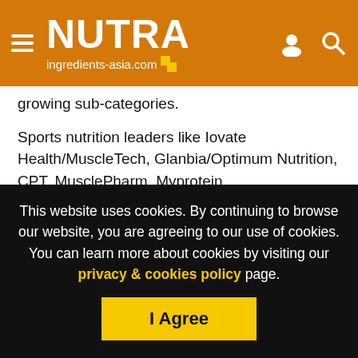NUTRA ingredients-asia.com
growing sub-categories.
Sports nutrition leaders like Iovate Health/MuscleTech, Glanbia/Optimum Nutrition, CPT, MusclePharm, Myprotein, NutraBolt/Cellucor and GymMax all have well over 100,000 reviews for their brand variants across multiple markets.
A feedback loop frequently forms between reviews and ratings, with elevated star ratings often the spark for exploding review volumes.
This website uses cookies. By continuing to browse our website, you are agreeing to our use of cookies. You can learn more about cookies by visiting our privacy & cookies policy page.
I Agree